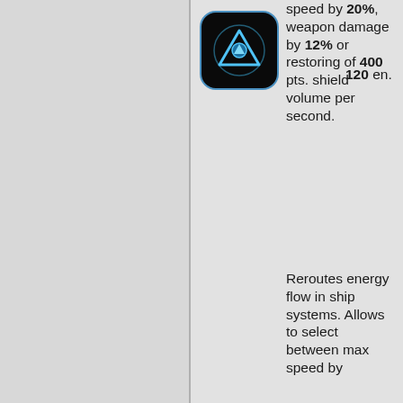[Figure (logo): Dark rounded square icon with a blue triangular/geometric symbol resembling a stylized ship or navigation emblem on black background]
speed by 20%, weapon damage by 12% or restoring of 400 pts. shield volume per second.
120 en.
Reroutes energy flow in ship systems. Allows to select between max speed by